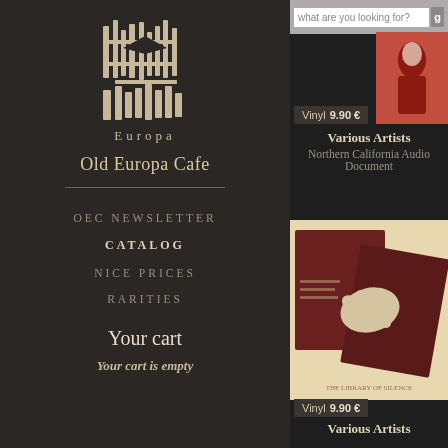[Figure (logo): Old Europa Cafe stylized text logo in white on dark background]
Old Europa Cafe
OEC NEWSLETTER
CATALOG
NICE PRICES
RARITIES
Your cart
Your cart is empty
what are you looking for?
[Figure (photo): Album cover - red image with figure, for Northern California Audio Document]
Vinyl  9.90 €
Various Artists
Northern California Audio Document
[Figure (photo): Vinyl album cover - dark red and cream with hands holding records, retro collage style]
Vinyl  9.90 €
Various Artists